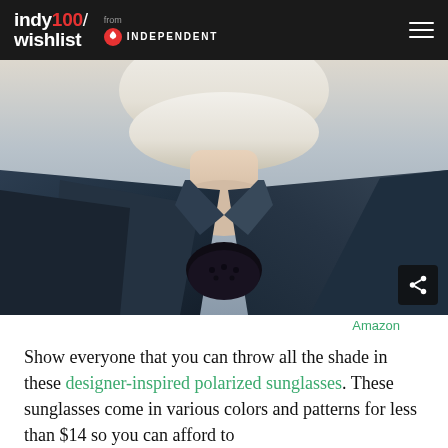indy100/ wishlist from INDEPENDENT
[Figure (photo): Close-up photo of a person with white-blonde hair wearing a dark navy blazer jacket, with a black lace inner top visible. Partial torso and neck visible. Share icon button in bottom-right corner of the image.]
Amazon
Show everyone that you can throw all the shade in these designer-inspired polarized sunglasses. These sunglasses come in various colors and patterns for less than $14 so you can afford to